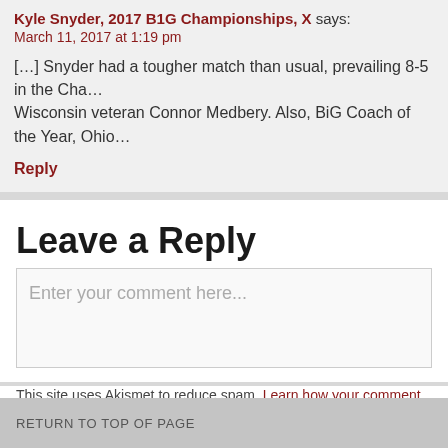Kyle Snyder, 2017 B1G Championships, X says:
March 11, 2017 at 1:19 pm
[…] Snyder had a tougher match than usual, prevailing 8-5 in the Cha… Wisconsin veteran Connor Medbery. Also, BiG Coach of the Year, Ohio…
Reply
Leave a Reply
Enter your comment here...
This site uses Akismet to reduce spam. Learn how your comment data
RETURN TO TOP OF PAGE